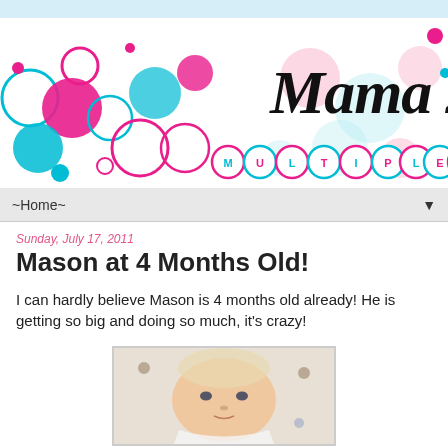[Figure (illustration): Blog header banner for 'Mama 2 Multiples' with colorful pink and blue circles/bubbles on white background, cursive 'Mama 2' text and 'MULTIPLES' in bubble letters]
~Home~
Sunday, July 17, 2011
Mason at 4 Months Old!
I can hardly believe Mason is 4 months old already! He is getting so big and doing so much, it's crazy!
[Figure (photo): Photo of baby Mason looking up at the camera, lying down, close-up of face]